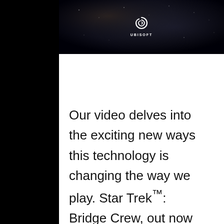[Figure (screenshot): Dark space-themed image with Ubisoft logo (spiral icon and UBISOFT text) centered on a dark nebula background]
Our video delves into the exciting new ways this technology is changing the way we play. Star Trek™: Bridge Crew, out now for Sony